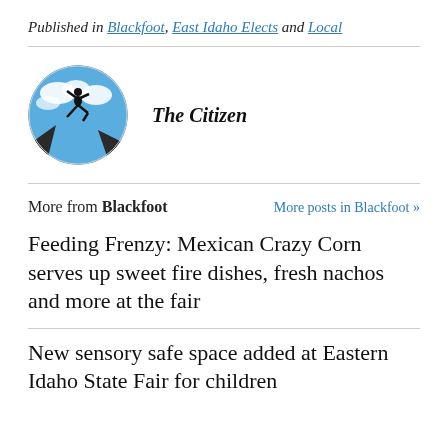Published in Blackfoot, East Idaho Elects and Local
[Figure (illustration): Circular avatar logo showing a silhouette of a person jumping between two cliffs against a blue sky with clouds, representing 'The Citizen' publication.]
The Citizen
More from Blackfoot
More posts in Blackfoot »
Feeding Frenzy: Mexican Crazy Corn serves up sweet fire dishes, fresh nachos and more at the fair
New sensory safe space added at Eastern Idaho State Fair for children